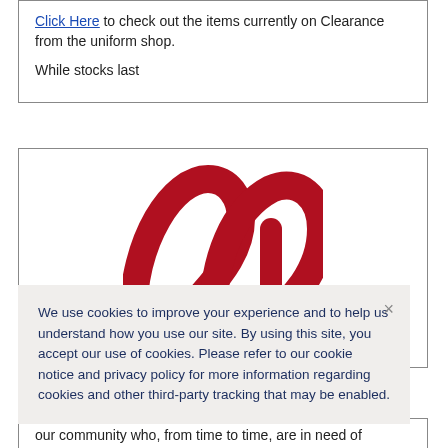Click Here to check out the items currently on Clearance from the uniform shop.
While stocks last
[Figure (logo): Red stylized logo resembling two arches or a heart-like shape with a vertical element, in dark red/maroon color]
We use cookies to improve your experience and to help us understand how you use our site. By using this site, you accept our use of cookies. Please refer to our cookie notice and privacy policy for more information regarding cookies and other third-party tracking that may be enabled.
our community who, from time to time, are in need of support